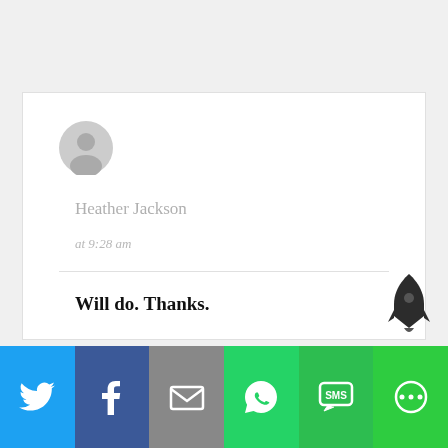[Figure (illustration): User avatar placeholder icon — gray circle with silhouette of a person]
Heather Jackson
at 9:28 am
Will do. Thanks.
Reply
[Figure (illustration): Row of social sharing buttons: Twitter (blue), Facebook (dark blue), Email (gray), WhatsApp (green), SMS (green), More (green)]